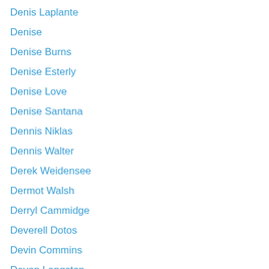Denis Laplante
Denise
Denise Burns
Denise Esterly
Denise Love
Denise Santana
Dennis Niklas
Dennis Walter
Derek Weidensee
Dermot Walsh
Derryl Cammidge
Deverell Dotos
Devin Commins
Devon Langston
Di Sprake
Diana Duncan
Diana Wages
Diana Zavala
Diane Russo
Diane Scribe Niigaanii